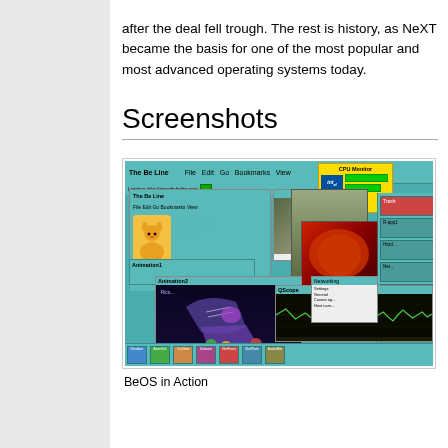after the deal fell trough. The rest is history, as NeXT became the basis for one of the most popular and most advanced operating systems today.
Screenshots
[Figure (screenshot): BeOS in Action — a screenshot of the BeOS operating system showing multiple windows including The Be Line browser, CPU Monitor, Video Source, Animation windows with 3D rollerblades, and a QScope graph widget, with a taskbar at the bottom.]
BeOS in Action